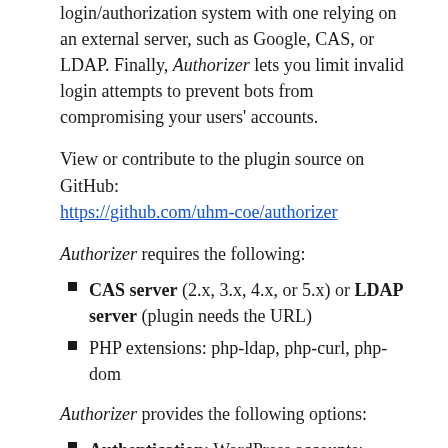login/authorization system with one relying on an external server, such as Google, CAS, or LDAP. Finally, Authorizer lets you limit invalid login attempts to prevent bots from compromising your users' accounts.
View or contribute to the plugin source on GitHub: https://github.com/uhm-coe/authorizer
Authorizer requires the following:
CAS server (2.x, 3.x, 4.x, or 5.x) or LDAP server (plugin needs the URL)
PHP extensions: php-ldap, php-curl, php-dom
Authorizer provides the following options:
Authentication: WordPress accounts; Google accounts; CAS accounts; LDAP accounts
Login Access: All authenticated users (all local and